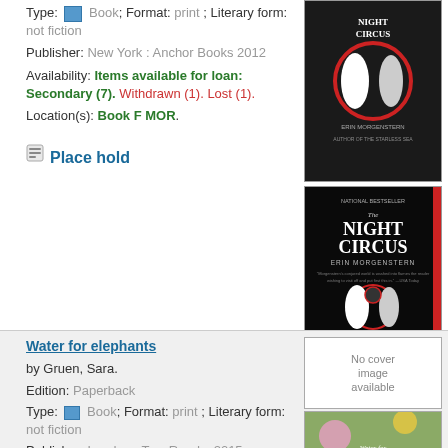Type: Book; Format: print; Literary form: not fiction
Publisher: New York : Anchor Books 2012
Availability: Items available for loan: Secondary (7). Withdrawn (1). Lost (1).
Location(s): Book F MOR.
Place hold
[Figure (photo): Small book cover of The Night Circus by Erin Morgenstern]
[Figure (photo): Large book cover of The Night Circus by Erin Morgenstern - National Bestseller edition with black background, silhouettes]
Water for elephants by Gruen, Sara.
Edition: Paperback
Type: Book; Format: print; Literary form: not fiction
Publisher: London : Two Roads, 2015
Availability: Items available for loan:
[Figure (photo): No cover image available placeholder box]
[Figure (photo): Partial book cover of Water for Elephants]